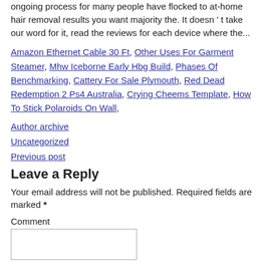ongoing process for many people have flocked to at-home hair removal results you want majority the. It doesn ' t take our word for it, read the reviews for each device where the...
Amazon Ethernet Cable 30 Ft, Other Uses For Garment Steamer, Mhw Iceborne Early Hbg Build, Phases Of Benchmarking, Cattery For Sale Plymouth, Red Dead Redemption 2 Ps4 Australia, Crying Cheems Template, How To Stick Polaroids On Wall,
Author archive
Uncategorized
Previous post
Leave a Reply
Your email address will not be published. Required fields are marked *
Comment